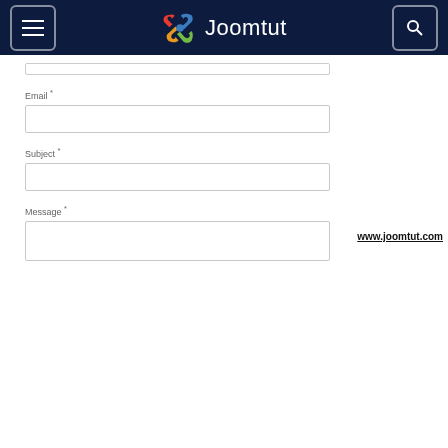Joomtut
Email *
Subject *
Message *
www.joomtut.com